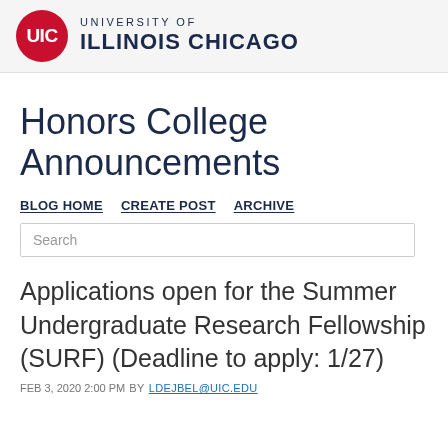[Figure (logo): UIC (University of Illinois Chicago) logo — red circle with white UIC text, followed by 'UNIVERSITY OF' in small caps and 'ILLINOIS CHICAGO' in bold navy]
Honors College Announcements
BLOG HOME   CREATE POST   ARCHIVE
Search
Applications open for the Summer Undergraduate Research Fellowship (SURF) (Deadline to apply: 1/27)
FEB 3, 2020 2:00 PM  BY LDEJBEL@UIC.EDU